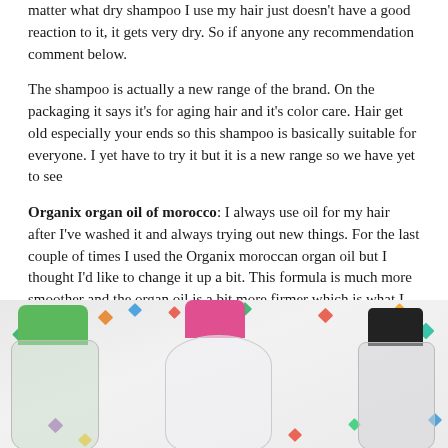matter what dry shampoo I use my hair just doesn't have a good reaction to it, it gets very dry. So if anyone any recommendation comment below.
The shampoo is actually a new range of the brand. On the packaging it says it's for aging hair and it's color care. Hair get old especially your ends so this shampoo is basically suitable for everyone. I yet have to try it but it is a new range so we have yet to see
Organix organ oil of morocco: I always use oil for my hair after I've washed it and always trying out new things. For the last couple of times I used the Organix moroccan organ oil but I thought I'd like to change it up a bit. This formula is much more smoother and the organ oil is a bit more firmer which is what I like more but this one is also oke, I did like the organ oil a bit more.
[Figure (photo): Three hair/beauty product bottles arranged side by side with colorful origami star decorations scattered around them. Left bottle has a green cap, center bottle has a pink cap, right bottle has a black cap, all on a light background.]